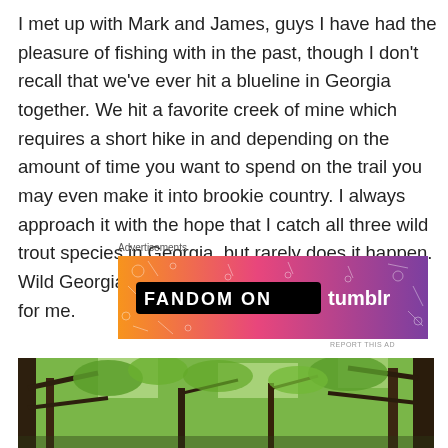I met up with Mark and James, guys I have had the pleasure of fishing with in the past, though I don't recall that we've ever hit a blueline in Georgia together.  We hit a favorite creek of mine which requires a short hike in and depending on the amount of time you want to spend on the trail you may even make it into brookie country.  I always approach it with the hope that I catch all three wild trout species in Georgia, but rarely does it happen.  Wild Georgia brown trout tend to be pretty elusive for me.
Advertisements
[Figure (infographic): Colorful banner advertisement for Fandom on Tumblr with orange-to-purple gradient background and white doodles]
[Figure (photo): Forest scene with green leaves and tree branches viewed from below]